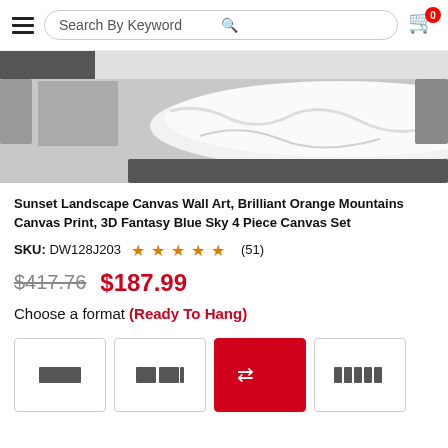Search By Keyword
[Figure (photo): Product photo showing white canvas/fabric item on a surface, partially cropped]
Sunset Landscape Canvas Wall Art, Brilliant Orange Mountains Canvas Print, 3D Fantasy Blue Sky 4 Piece Canvas Set
SKU: DW128J203  ★★★★★ (51)
$417.76  $187.99
Choose a format (Ready To Hang)
[Figure (other): Four format selector buttons showing different canvas layout options: single, 2-piece, 3-piece with arrows (selected, red background), and 5-piece panel]